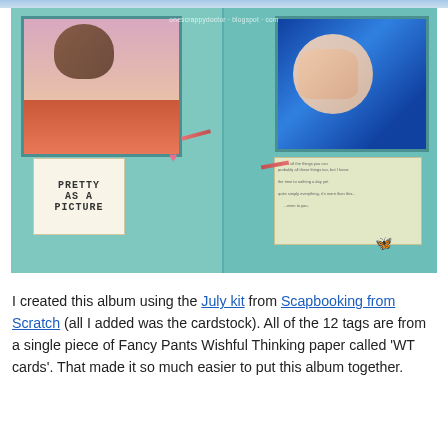[Figure (photo): A scrapbook album open to two pages, both with teal/turquoise backgrounds. Left page has a photo of a child from behind, wearing a hat, with text card reading 'PRETTY AS A PICTURE'. Right page has a photo of a newborn baby. The album is propped open on a wooden surface. Watermark reads 'onescrappydoctor.blogspot.com'.]
I created this album using the July kit from Scapbooking from Scratch (all I added was the cardstock). All of the 12 tags are from a single piece of Fancy Pants Wishful Thinking paper called 'WT cards'. That made it so much easier to put this album together.